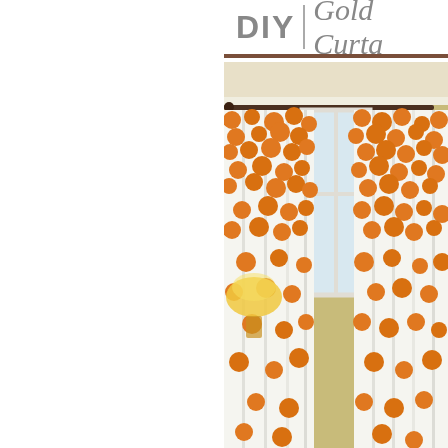DIY | Gold Curta...
[Figure (photo): White curtains with orange/gold polka dots hanging on a curtain rod in a room, with a window behind them and a lamp visible to the left. The dots are more dense at the top and sparser toward the bottom.]